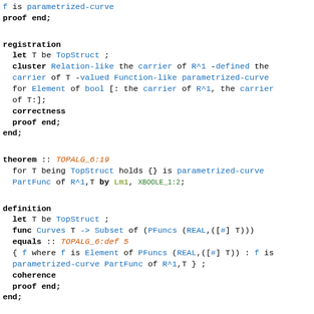f is parametrized-curve
proof end;
registration
  let T be TopStruct ;
  cluster Relation-like the carrier of R^1 -defined the carrier of T -valued Function-like parametrized-curve for Element of bool [: the carrier of R^1, the carrier of T:];
  correctness
  proof end;
end;
theorem :: TOPALG_6:19
  for T being TopStruct holds {} is parametrized-curve PartFunc of R^1,T by Lm1, XBOOLE_1:2;
definition
  let T be TopStruct ;
  func Curves T -> Subset of (PFuncs (REAL,([#] T)))
  equals :: TOPALG_6:def 5
  { f where f is Element of PFuncs (REAL,([#] T)) : f is parametrized-curve PartFunc of R^1,T } ;
  coherence
  proof end;
end;
:: deftheorem defines Curves TOPALG_6:def 5 :
Loading [MathJax]/extensions/MathMenu.js